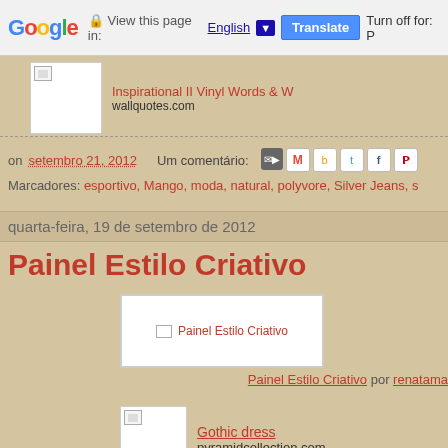Google  View this page in: English [▼]  Translate  Turn off for: P
[Figure (screenshot): Thumbnail image placeholder with small broken image icon, white background]
Inspirational II Vinyl Words & W
wallquotes.com
on setembro 21, 2012   Um comentário:  [share icons]
Marcadores: esportivo, Mango, moda, natural, polyvore, Silver Jeans, s
quarta-feira, 19 de setembro de 2012
Painel Estilo Criativo
[Figure (screenshot): Image placeholder with text 'Painel Estilo Criativo' and broken image icon]
Painel Estilo Criativo por renatama
[Figure (screenshot): Small thumbnail image placeholder]
Gothic dress
pyramidcollection.com